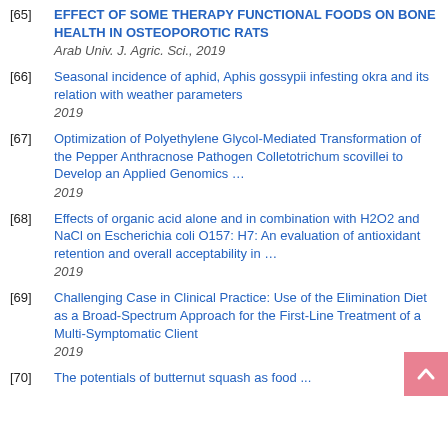[65] EFFECT OF SOME THERAPY FUNCTIONAL FOODS ON BONE HEALTH IN OSTEOPOROTIC RATS
Arab Univ. J. Agric. Sci., 2019
[66] Seasonal incidence of aphid, Aphis gossypii infesting okra and its relation with weather parameters
2019
[67] Optimization of Polyethylene Glycol-Mediated Transformation of the Pepper Anthracnose Pathogen Colletotrichum scovillei to Develop an Applied Genomics …
2019
[68] Effects of organic acid alone and in combination with H2O2 and NaCl on Escherichia coli O157: H7: An evaluation of antioxidant retention and overall acceptability in …
2019
[69] Challenging Case in Clinical Practice: Use of the Elimination Diet as a Broad-Spectrum Approach for the First-Line Treatment of a Multi-Symptomatic Client
2019
[70] The potentials of butternut squash as food ...